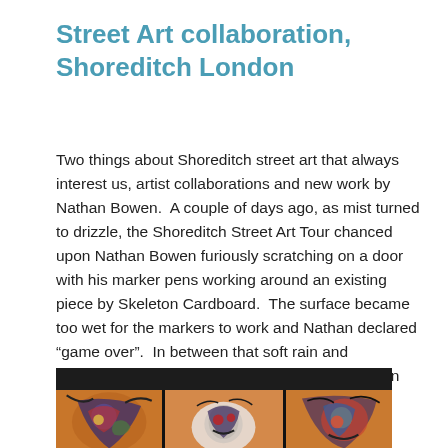Street Art collaboration, Shoreditch London
Two things about Shoreditch street art that always interest us, artist collaborations and new work by Nathan Bowen.  A couple of days ago, as mist turned to drizzle, the Shoreditch Street Art Tour chanced upon Nathan Bowen furiously scratching on a door with his marker pens working around an existing piece by Skeleton Cardboard.  The surface became too wet for the markers to work and Nathan declared “game over”.  In between that soft rain and yesterday’s monsoon, Nathan found time to return and complete two stunning works.
[Figure (photo): Photograph of colorful street art on a door or wall in Shoreditch, London. Three panels of vivid graffiti artwork featuring abstract figures and characters in blues, oranges, and reds, with a dark overhang or roof visible at the top.]